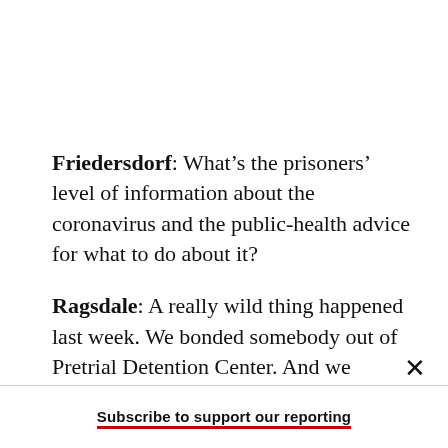Friedersdorf: What’s the prisoners’ level of information about the coronavirus and the public-health advice for what to do about it?
Ragsdale: A really wild thing happened last week. We bonded somebody out of Pretrial Detention Center. And we always make sure that we pick
Subscribe to support our reporting